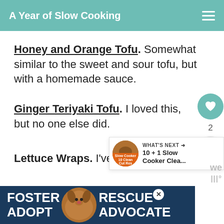A Year of Slow Cooking
Honey and Orange Tofu. Somewhat similar to the sweet and sour tofu, but with a homemade sauce.
Ginger Teriyaki Tofu. I loved this, but no one else did.
Lettuce Wraps. I've made two
[Figure (other): Social media sidebar with heart icon (count: 2) and share button]
[Figure (other): What's Next widget showing 10+1 Slow Cooker Clea... with thumbnail]
[Figure (other): Foster Adopt Advocate dog rescue advertisement banner with beagle photo]